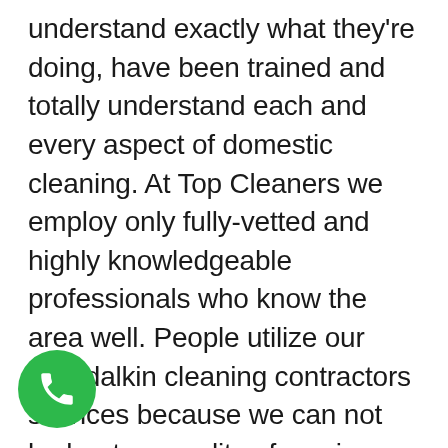understand exactly what they're doing, have been trained and totally understand each and every aspect of domestic cleaning. At Top Cleaners we employ only fully-vetted and highly knowledgeable professionals who know the area well. People utilize our Clondalkin cleaning contractors services because we can not be beat on quality of service or cost. All members of our cleaning team get along and knowledgeable so they can help you with advice and important ideas on how to keep your home clean for a longer time period. Call 01 503 9877 and you'll get really professional assistance! For house cleaning in Dublin check Top Cleaners main page.
[Figure (other): Green circular phone/call button icon in the bottom-left corner]